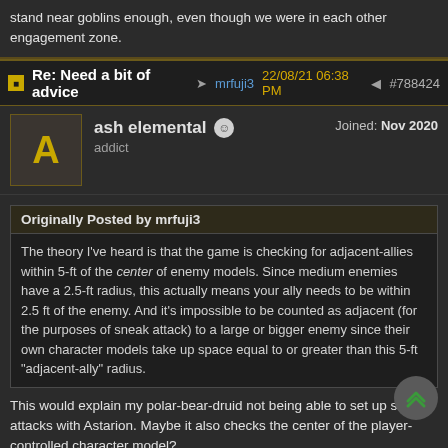stand near goblins enough, even though we were in each other engagement zone.
Re: Need a bit of advice  mrfuji3  22/08/21 06:38 PM  #788424
ash elemental  addict  Joined: Nov 2020
Originally Posted by mrfuji3
The theory I've heard is that the game is checking for adjacent-allies within 5-ft of the center of enemy models. Since medium enemies have a 2.5-ft radius, this actually means your ally needs to be within 2.5 ft of the enemy. And it's impossible to be counted as adjacent (for the purposes of sneak attack) to a large or bigger enemy since their own character models take up space equal to or greater than this 5-ft "adjacent-ally" radius.
This would explain my polar-bear-druid not being able to set up sneak attacks with Astarion. Maybe it also checks the center of the player-controlled character model?
Last edited by ash elemental; 22/08/21 06:39 PM.